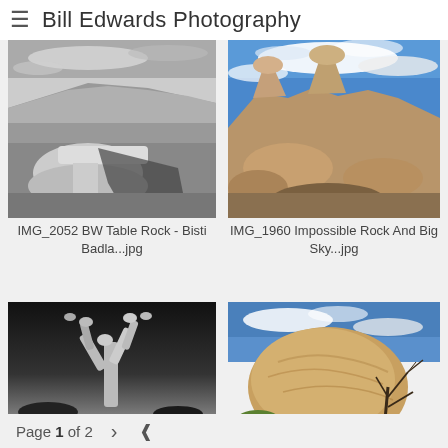≡ Bill Edwards Photography
[Figure (photo): Black and white photograph of Table Rock at Bisti Badlands, New Mexico. Dramatic landscape with rock formations and cloudy sky.]
IMG_2052 BW Table Rock - Bisti Badla...jpg
[Figure (photo): Color photograph of Impossible Rock and Big Sky, featuring unusual rock formations against a vivid blue sky with clouds.]
IMG_1960 Impossible Rock And Big Sky...jpg
[Figure (photo): Black and white photograph of a cactus plant against a dark background.]
[Figure (photo): Color photograph of a large boulder formation with a dead tree and desert vegetation against a blue sky.]
Page 1 of 2  >  share